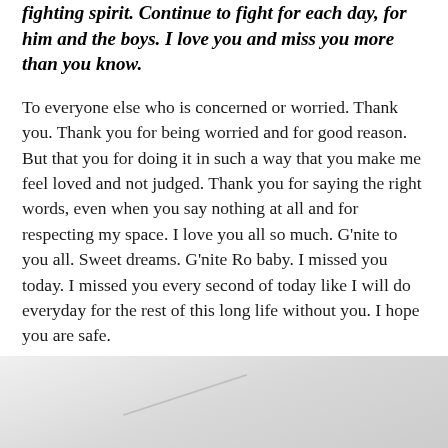fighting spirit. Continue to fight for each day, for him and the boys. I love you and miss you more than you know.
To everyone else who is concerned or worried. Thank you. Thank you for being worried and for good reason. But that you for doing it in such a way that you make me feel loved and not judged. Thank you for saying the right words, even when you say nothing at all and for respecting my space. I love you all so much. G'nite to you all. Sweet dreams. G'nite Ro baby. I missed you today. I missed you every second of today like I will do everyday for the rest of this long life without you. I hope you are safe.
xoxo
[Figure (photo): Partial view of a white surface or object, possibly furniture or interior, with light shadow lines visible]